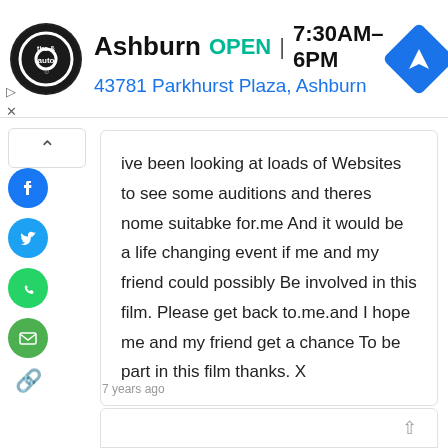[Figure (screenshot): Ad banner for Ashburn tire & auto shop showing logo, OPEN status, hours 7:30AM-6PM, address 43781 Parkhurst Plaza, Ashburn, and navigation icon]
ive been looking at loads of Websites to see some auditions and theres nome suitabke for.me And it would be a life changing event if me and my friend could possibly Be involved in this film. Please get back to.me.and I hope me and my friend get a chance To be part in this film thanks. X
7 years ago